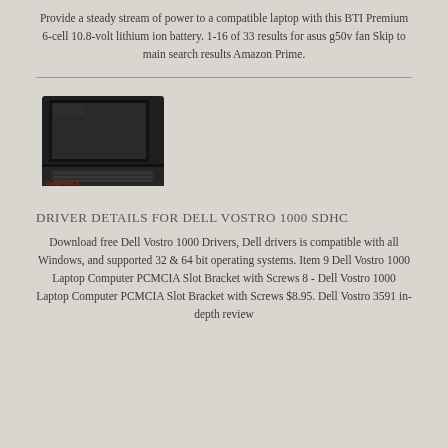Provide a steady stream of power to a compatible laptop with this BTI Premium 6-cell 10.8-volt lithium ion battery. 1-16 of 33 results for asus g50v fan Skip to main search results Amazon Prime.
[Figure (photo): Photo of a dark/black laptop computer viewed from above at an angle, showing the keyboard and screen opened.]
DRIVER DETAILS FOR DELL VOSTRO 1000 SDHC
Download free Dell Vostro 1000 Drivers, Dell drivers is compatible with all Windows, and supported 32 & 64 bit operating systems. Item 9 Dell Vostro 1000 Laptop Computer PCMCIA Slot Bracket with Screws 8 - Dell Vostro 1000 Laptop Computer PCMCIA Slot Bracket with Screws $8.95. Dell Vostro 3591 in-depth review